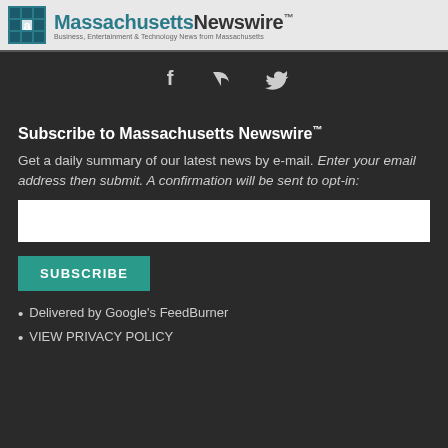Massachusetts Newswire™ — Business, Entertainment & Technology News from Massachusetts
[Figure (other): Social media icons: Facebook (f), RSS feed, Twitter bird]
Subscribe to Massachusetts Newswire™
Get a daily summary of our latest news by e-mail. Enter your email address then submit. A confirmation will be sent to opt-in:
Delivered by Google's FeedBurner
VIEW PRIVACY POLICY